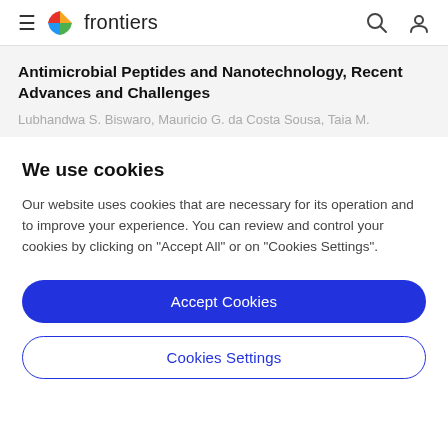≡ frontiers [search] [user]
Antimicrobial Peptides and Nanotechnology, Recent Advances and Challenges
Lubhandwa S. Biswaro, Mauricio G. da Costa Sousa, Taia M.
We use cookies
Our website uses cookies that are necessary for its operation and to improve your experience. You can review and control your cookies by clicking on "Accept All" or on "Cookies Settings".
Accept Cookies
Cookies Settings